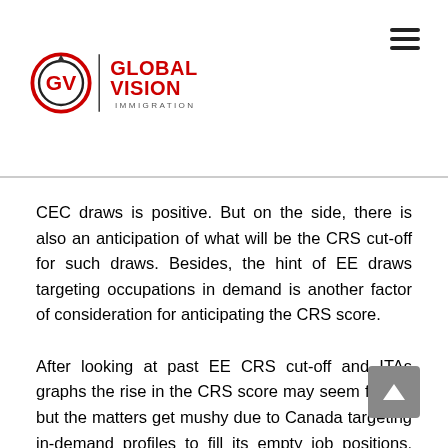Global Vision Immigration logo and navigation
CEC draws is positive. But on the side, there is also an anticipation of what will be the CRS cut-off for such draws. Besides, the hint of EE draws targeting occupations in demand is another factor of consideration for anticipating the CRS score.
After looking at past EE CRS cut-off and ITAs graphs the rise in the CRS score may seem far off. but the matters get mushy due to Canada targeting in-demand profiles to fill its empty job positions. This effect can be seen in the PNP PR pathway, where provinces are holding both general draws and draws targeting specific in-demand profiles.
Why is IRCC looking at holding the Express Entry occupation in demand draws is one question to answer. But the CRS cut-